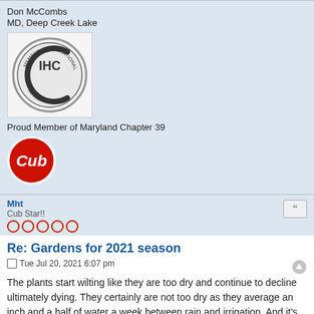Don McCombs
MD, Deep Creek Lake
[Figure (logo): Circular IHC International Harvester Collectors member badge in silver/black]
Proud Member of Maryland Chapter 39
[Figure (logo): Cub red circular logo with 'Cub' in white italic text]
Mht
Cub Star!!
Re: Gardens for 2021 season
Tue Jul 20, 2021 6:07 pm
The plants start wilting like they are too dry and continue to decline ultimately dying. They certainly are not too dry as they average an inch and a half of water a week between rain and irrigation. And it's totally random amongst the rows of plants. My research led me to the wilt virus of which there are several and all are fatal to the plant with no treatment available.